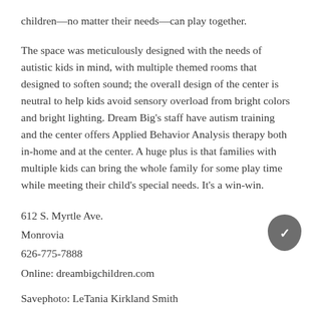children—no matter their needs—can play together.
The space was meticulously designed with the needs of autistic kids in mind, with multiple themed rooms that designed to soften sound; the overall design of the center is neutral to help kids avoid sensory overload from bright colors and bright lighting. Dream Big's staff have autism training and the center offers Applied Behavior Analysis therapy both in-home and at the center. A huge plus is that families with multiple kids can bring the whole family for some play time while meeting their child's special needs. It's a win-win.
612 S. Myrtle Ave.
Monrovia
626-775-7888
Online: dreambigchildren.com
Savephoto: LeTania Kirkland Smith